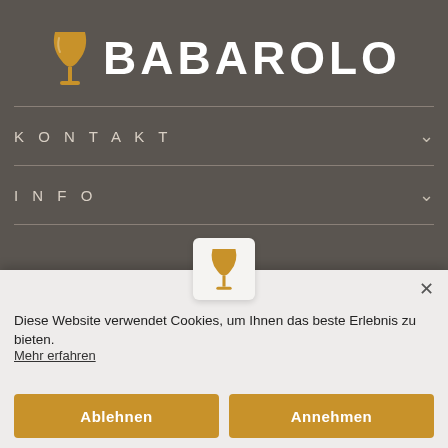[Figure (logo): Babarolo wine website logo with orange wine glass icon and white bold BABAROLO text on dark grey background]
KONTAKT
INFO
Diese Website verwendet Cookies, um Ihnen das beste Erlebnis zu bieten.
Mehr erfahren
Ablehnen
Annehmen